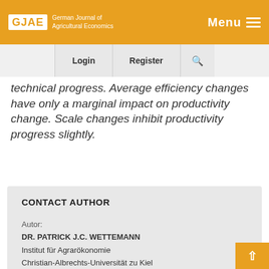GJAE German Journal of Agricultural Economics | Menu
Login | Register
technical progress. Average efficiency changes have only a marginal impact on productivity change. Scale changes inhibit productivity progress slightly.
CONTACT AUTHOR
Autor:
DR. PATRICK J.C. WETTEMANN
Institut für Agrarökonomie
Christian-Albrechts-Universität zu Kiel
Olshausenstr. 40, 24118 Kiel
E-Mail: pwettem@ae.uni-kiel.de
› Back to issue